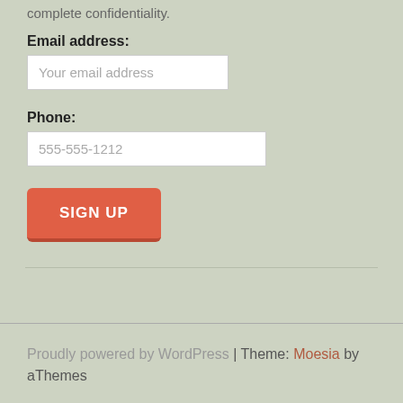complete confidentiality.
Email address:
Your email address
Phone:
555-555-1212
SIGN UP
Proudly powered by WordPress | Theme: Moesia by aThemes